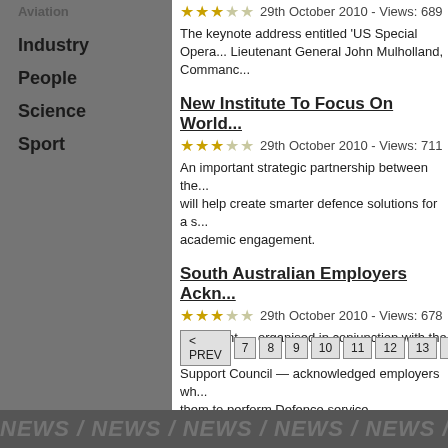Industry
People
Science
Sport
29th October 2010 - Views: 689
The keynote address entitled 'US Special Opera... Lieutenant General John Mulholland, Command...
New Institute To Focus On World...
29th October 2010 - Views: 711
An important strategic partnership between the... will help create smarter defence solutions for a s... academic engagement.
South Australian Employers Ackn...
29th October 2010 - Views: 678
The event — organised in conjunction with the S... Support Council — acknowledged employers wh... them to perform Defence service.
< PREV  7  8  9  10  11  12  13